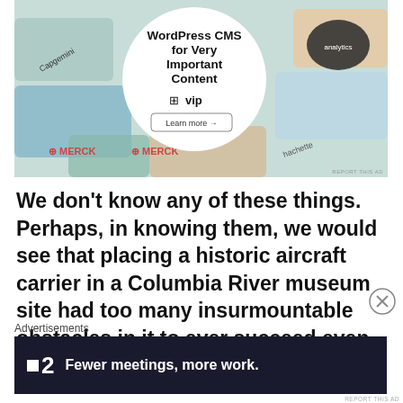[Figure (screenshot): WordPress VIP advertisement banner showing colorful brand logos (Merck, Hachette, Capgemini) arranged around a central white circle with text 'WordPress CMS for Very Important Content' and a 'Learn more' button]
We don't know any of these things. Perhaps, in knowing them, we would see that placing a historic aircraft carrier in a Columbia River museum site had too many insurmountable obstacles in it to ever succeed even if the navy
Advertisements
[Figure (screenshot): Dark navy advertisement banner for Fewer meetings product showing logo with square icon and number 2, with bold white text 'Fewer meetings, more work.']